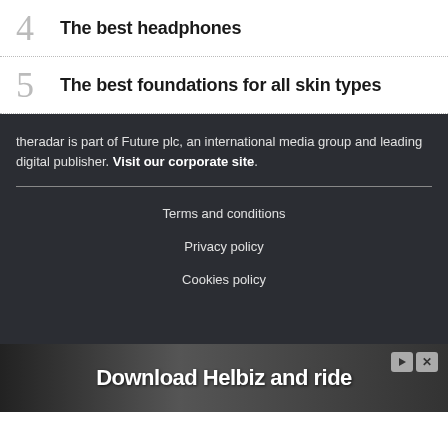4 The best headphones
5 The best foundations for all skin types
theradar is part of Future plc, an international media group and leading digital publisher. Visit our corporate site.
Terms and conditions
Privacy policy
Cookies policy
[Figure (other): Advertisement banner: Download Helbiz and ride]